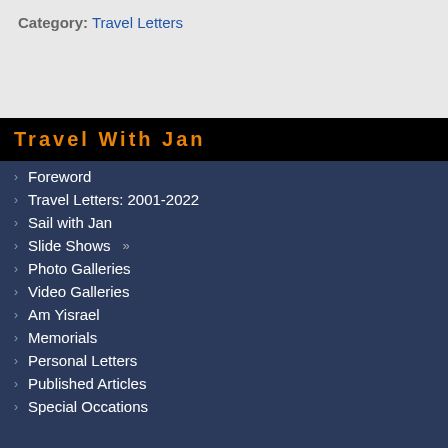Category: Travel Letters
Travel With Jan
Foreword
Travel Letters: 2001-2022
Sail with Jan
Slide Shows »
Photo Galleries
Video Galleries
Am Yisrael
Memorials
Personal Letters
Published Articles
Special Occations